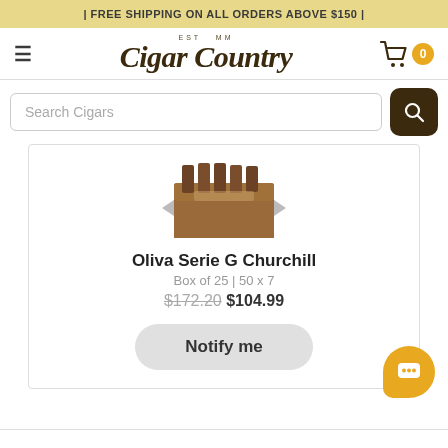| FREE SHIPPING ON ALL ORDERS ABOVE $150 |
[Figure (logo): Cigar Country logo with 'EST MM' above in small caps and stylized script text]
Search Cigars
[Figure (photo): Box of Oliva Serie G Churchill cigars, wooden box open showing cigars inside]
Oliva Serie G Churchill
Box of 25 | 50 x 7
$172.20 $104.99
Notify me